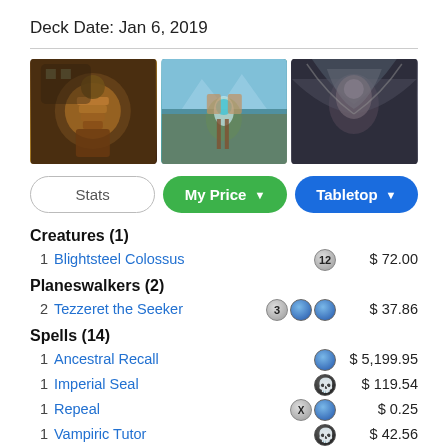Deck Date: Jan 6, 2019
[Figure (illustration): Three Magic: The Gathering card art images side by side: a mechanical/bronze artifact creature, a blue-green planeswalker scene, and a dark creature with wings]
Stats | My Price ▼ | Tabletop ▼
Creatures (1)
1  Blightsteel Colossus  [12]  $72.00
Planeswalkers (2)
2  Tezzeret the Seeker  [3][U][U]  $37.86
Spells (14)
1  Ancestral Recall  [U]  $5,199.95
1  Imperial Seal  [B]  $119.54
1  Repeal  [X][U]  $0.25
1  Vampiric Tutor  [B]  $42.56